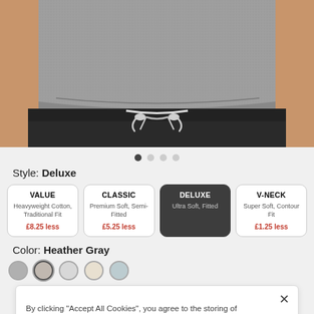[Figure (photo): Close-up photo of a person wearing a gray heather t-shirt tucked into black drawstring shorts with a white drawstring visible.]
Style: Deluxe
| VALUE | CLASSIC | DELUXE | V-NECK |
| --- | --- | --- | --- |
| Heavyweight Cotton, Traditional Fit | Premium Soft, Semi-Fitted | Ultra Soft, Fitted | Super Soft, Contour Fit |
| £8.25 less | £5.25 less |  | £1.25 less |
Color: Heather Gray
By clicking "Accept All Cookies", you agree to the storing of